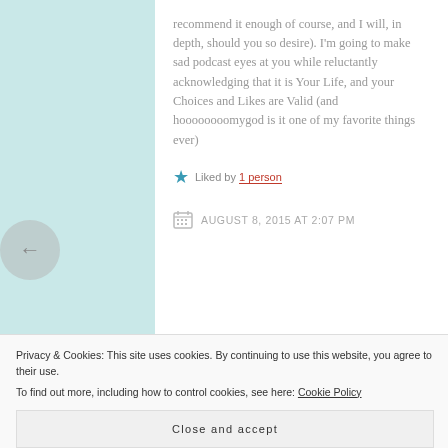recommend it enough of course, and I will, in depth, should you so desire). I'm going to make sad podcast eyes at you while reluctantly acknowledging that it is Your Life, and your Choices and Likes are Valid (and hoooooooomygod is it one of my favorite things ever)
★ Liked by 1 person
AUGUST 8, 2015 AT 2:07 PM
Privacy & Cookies: This site uses cookies. By continuing to use this website, you agree to their use. To find out more, including how to control cookies, see here: Cookie Policy
Close and accept